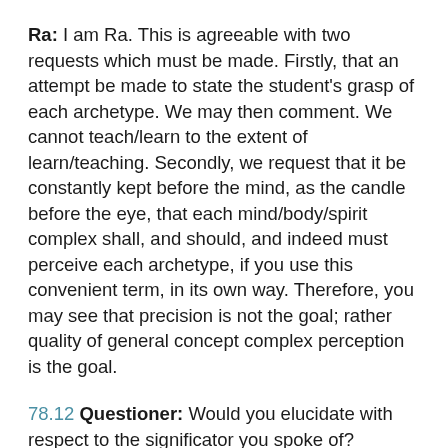Ra: I am Ra. This is agreeable with two requests which must be made. Firstly, that an attempt be made to state the student's grasp of each archetype. We may then comment. We cannot teach/learn to the extent of learn/teaching. Secondly, we request that it be constantly kept before the mind, as the candle before the eye, that each mind/body/spirit complex shall, and should, and indeed must perceive each archetype, if you use this convenient term, in its own way. Therefore, you may see that precision is not the goal; rather quality of general concept complex perception is the goal.
78.12 Questioner: Would you elucidate with respect to the significator you spoke of?
Ra: I am Ra. The original significators may undifferentiatedly be termed the mind, the body,